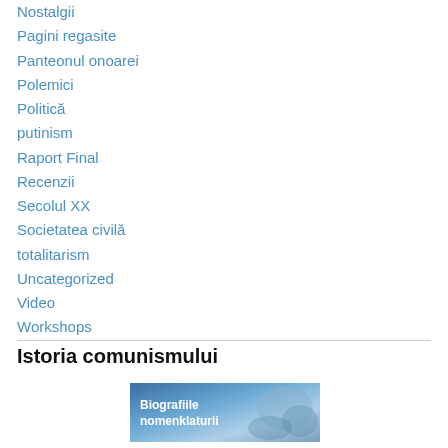Nostalgii
Pagini regasite
Panteonul onoarei
Polemici
Politică
putinism
Raport Final
Recenzii
Secolul XX
Societatea civilă
totalitarism
Uncategorized
Video
Workshops
Istoria comunismului
[Figure (illustration): Banner image with text 'Biografiile nomenklaturii' on a blue background with imagery]